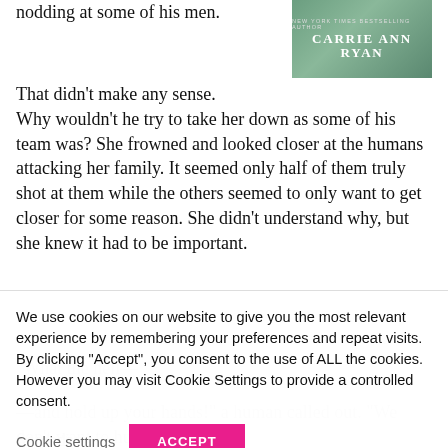nodding at some of his men.
[Figure (illustration): Book cover image for a novel by New York Times Bestselling Author Carrie Ann Ryan, showing a green-tinted cover.]
That didn't make any sense. Why wouldn't he try to take her down as some of his team was? She frowned and looked closer at the humans attacking her family. It seemed only half of them truly shot at them while the others seemed to only want to get closer for some reason. She didn't understand why, but she knew it had to be important.
Someday
We use cookies on our website to give you the most relevant experience by remembering your preferences and repeat visits. By clicking "Accept", you consent to the use of ALL the cookies. However you may visit Cookie Settings to provide a controlled consent.
Cookie settings
ACCEPT
What the hell—
—and hold up your hands!" a human called out. "We don't want to hurt you,